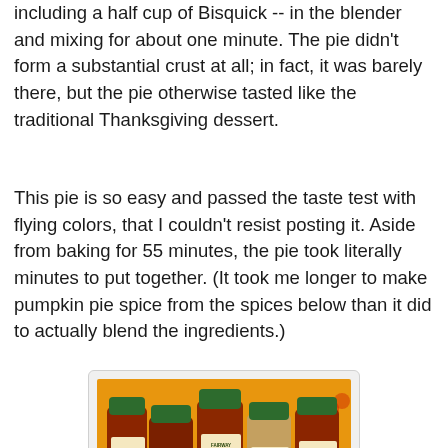including a half cup of Bisquick -- in the blender and mixing for about one minute. The pie didn't form a substantial crust at all; in fact, it was barely there, but the pie otherwise tasted like the traditional Thanksgiving dessert.
This pie is so easy and passed the taste test with flying colors, that I couldn't resist posting it. Aside from baking for 55 minutes, the pie took literally minutes to put together. (It took me longer to make pumpkin pie spice from the spices below than it did to actually blend the ingredients.)
[Figure (photo): Five Fairway brand spice jars with green lids arranged on an orange/yellow surface with a fruit pattern. Labels visible: Ground Allspice, Ground Saigon Cinnamon, Ground Nutmeg, Ground Ginger, Ground Cloves.]